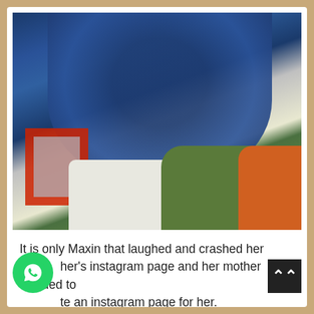[Figure (photo): A person in a dark navy blue patterned (floral/print) shirt holding a baby or small child. The person is wearing white pants. In the background there is a red-framed structure and what appears to be a green and orange couch. The setting looks like an indoor venue or studio.]
It is only Maxin that laughed and crashed her [mot]her's instagram page and her mother decided to [crea]te an instagram page for her.